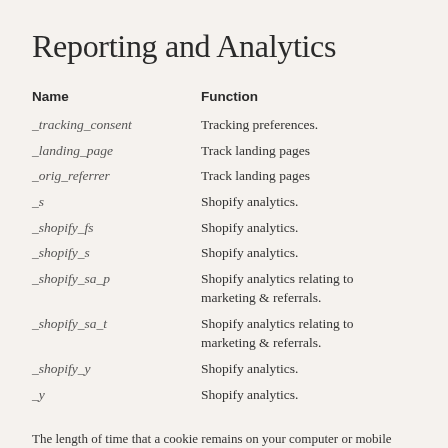Reporting and Analytics
| Name | Function |
| --- | --- |
| _tracking_consent | Tracking preferences. |
| _landing_page | Track landing pages |
| _orig_referrer | Track landing pages |
| _s | Shopify analytics. |
| _shopify_fs | Shopify analytics. |
| _shopify_s | Shopify analytics. |
| _shopify_sa_p | Shopify analytics relating to marketing & referrals. |
| _shopify_sa_t | Shopify analytics relating to marketing & referrals. |
| _shopify_y | Shopify analytics. |
| _y | Shopify analytics. |
The length of time that a cookie remains on your computer or mobile device depends on whether it is a “persistent” or “session” cookie. Session cookies last until you stop browsing